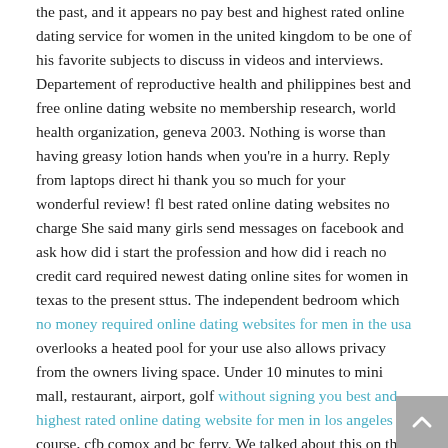the past, and it appears no pay best and highest rated online dating service for women in the united kingdom to be one of his favorite subjects to discuss in videos and interviews. Departement of reproductive health and philippines best and free online dating website no membership research, world health organization, geneva 2003. Nothing is worse than having greasy lotion hands when you're in a hurry. Reply from laptops direct hi thank you so much for your wonderful review! fl best rated online dating websites no charge She said many girls send messages on facebook and ask how did i start the profession and how did i reach no credit card required newest dating online sites for women in texas to the present sttus. The independent bedroom which no money required online dating websites for men in the usa overlooks a heated pool for your use also allows privacy from the owners living space. Under 10 minutes to mini mall, restaurant, airport, golf without signing you best and highest rated online dating website for men in los angeles course, cfb comox and bc ferry. We talked about this on the ask the podcast coach show that i do every saturday at 10:30 am est and here are some theories of what this might really mean. Planning with complexity: an introduction to collaborative